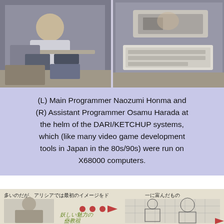[Figure (photo): Two photographs side by side: (L) Main Programmer Naozumi Honma seated working at a desk with equipment and (R) Assistant Programmer Osamu Harada at a workstation with a keyboard and hardware]
(L) Main Programmer Naozumi Honma and (R) Assistant Programmer Osamu Harada at the helm of the DARI/KETCHUP systems, which (like many video game development tools in Japan in the 80s/90s) were run on X68000 computers.
[Figure (photo): Scanned Japanese magazine or booklet page showing character concept art of an elaborately dressed figure with Japanese text reading 多いのだが、アリシアでは最初のイメージをド and 一に富んだもの, along with an arrow motif and green Japanese handwritten text 妖しい魅力の 蠱教祖, and a grid-overlaid sketch on the right side.]